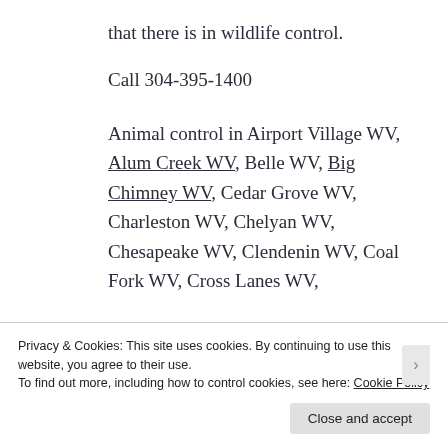that there is in wildlife control.
Call 304-395-1400
Animal control in Airport Village WV, Alum Creek WV, Belle WV, Big Chimney WV, Cedar Grove WV, Charleston WV, Chelyan WV, Chesapeake WV, Clendenin WV, Coal Fork WV, Cross Lanes WV,
Privacy & Cookies: This site uses cookies. By continuing to use this website, you agree to their use.
To find out more, including how to control cookies, see here: Cookie Policy